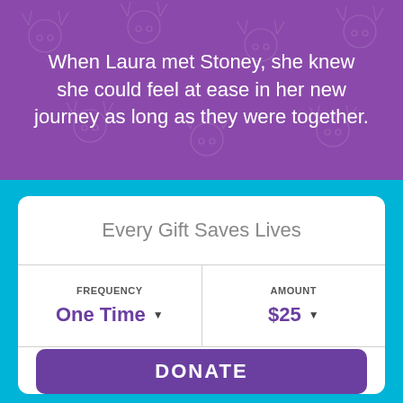When Laura met Stoney, she knew she could feel at ease in her new journey as long as they were together.
Every Gift Saves Lives
FREQUENCY: One Time | AMOUNT: $25
DONATE